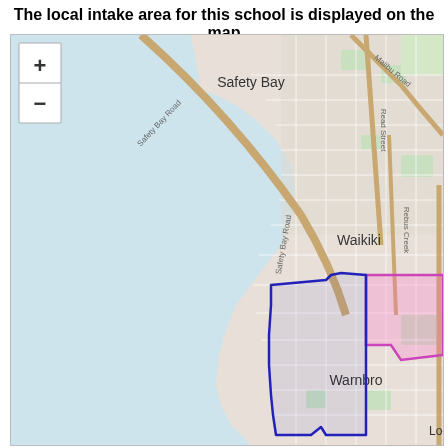The local intake area for this school is displayed on the map
[Figure (map): Street map showing the local intake area for a school near Warnbro and Waikiki, Western Australia. The map shows Safety Bay to the northwest, Safety Bay Road running diagonally, Malibu Road, Read Street, Rebus Creek, and Ennis Avenue. A blue polygon outlines the main school intake area in the Warnbro suburb. A pink/magenta filled polygon overlaps the right portion of the blue area. The map includes a zoom control with + and - buttons in the upper left corner. Place names visible include Safety Bay, Waikiki, Warnbro, and a partial label 'Lo-' at bottom right.]